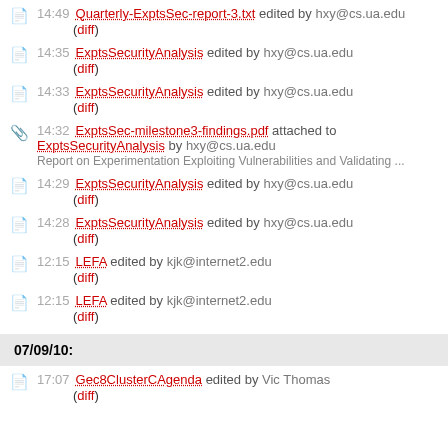14:49 Quarterly-ExptsSec-report-3.txt edited by hxy@cs.ua.edu (diff)
14:35 ExptsSecurityAnalysis edited by hxy@cs.ua.edu (diff)
14:33 ExptsSecurityAnalysis edited by hxy@cs.ua.edu (diff)
14:32 ExptsSec-milestone3-findings.pdf attached to ExptsSecurityAnalysis by hxy@cs.ua.edu Report on Experimentation Exploiting Vulnerabilities and Validating ...
14:29 ExptsSecurityAnalysis edited by hxy@cs.ua.edu (diff)
14:28 ExptsSecurityAnalysis edited by hxy@cs.ua.edu (diff)
12:15 LEFA edited by kjk@internet2.edu (diff)
12:15 LEFA edited by kjk@internet2.edu (diff)
07/09/10:
17:07 Gec8ClusterCAgenda edited by Vic Thomas (diff)